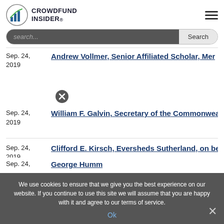CROWDFUND INSIDER
Sep. 24, 2019 | Andrew Vollmer, Senior Affiliated Scholar, Mer...
Sep. 24, 2019 | William F. Galvin, Secretary of the Commonwea...
Sep. 24, 2019 | Clifford E. Kirsch, Eversheds Sutherland, on be...
Sep. 24, George Humm
We use cookies to ensure that we give you the best experience on our website. If you continue to use this site we will assume that you are happy with it and agree to our terms of service.
Ok